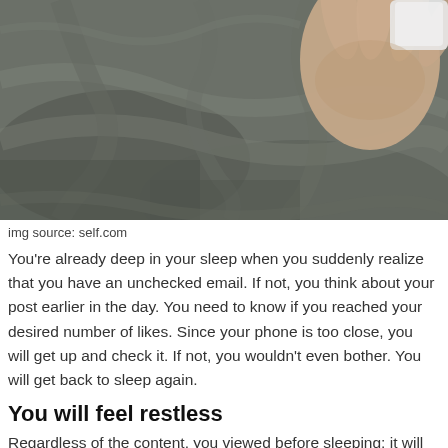[Figure (photo): Close-up photograph of rumpled dark grey/olive bed sheets with a hand visible in the upper right corner holding what appears to be a phone or pillow.]
img source: self.com
You’re already deep in your sleep when you suddenly realize that you have an unchecked email. If not, you think about your post earlier in the day. You need to know if you reached your desired number of likes. Since your phone is too close, you will get up and check it. If not, you wouldn’t even bother. You will get back to sleep again.
You will feel restless
Regardless of the content, you viewed before sleeping; it will bother you. It’s easier to feel restless since that information would keep